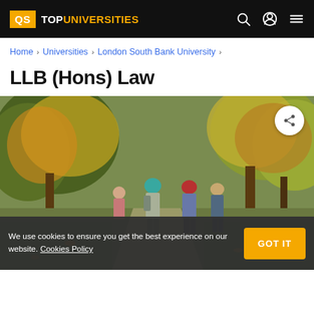QS TOPUNIVERSITIES
Home > Universities > London South Bank University >
LLB (Hons) Law
[Figure (photo): Students walking on a tree-lined university campus path in autumn, featuring colorful foliage. A cookie consent banner overlays the bottom of the image.]
We use cookies to ensure you get the best experience on our website. Cookies Policy GOT IT